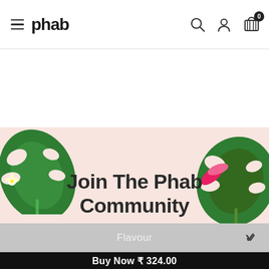phab — navigation header with hamburger menu, logo, search, account, and cart icons
[Figure (illustration): Promotional banner with light pink background and tropical monstera leaves on left and right sides]
Join The Phab Community
Flavour
Buy Now ₹ 324.00